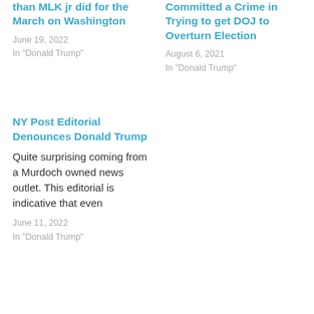than MLK jr did for the March on Washington
June 19, 2022
In "Donald Trump"
Committed a Crime in Trying to get DOJ to Overturn Election
August 6, 2021
In "Donald Trump"
NY Post Editorial Denounces Donald Trump
Quite surprising coming from a Murdoch owned news outlet. This editorial is indicative that even
June 11, 2022
In "Donald Trump"